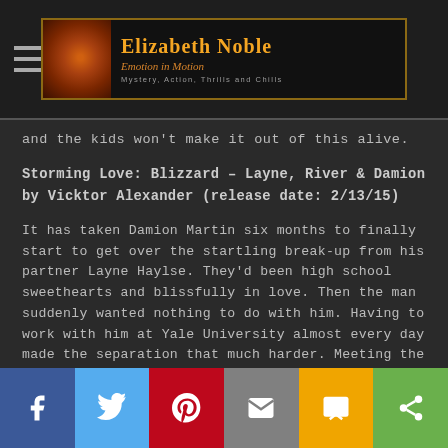Elizabeth Noble — Emotion in Motion — Mystery, Action, Thrills and Chills
and the kids won't make it out of this alive.
Storming Love: Blizzard – Layne, River & Damion by Vicktor Alexander (release date: 2/13/15)
It has taken Damion Martin six months to finally start to get over the startling break-up from his partner Layne Haylse. They'd been high school sweethearts and blissfully in love. Then the man suddenly wanted nothing to do with him. Having to work with him at Yale University almost every day made the separation that much harder. Meeting the young marketing major, River Cunningham, may just be the ticket to helping Damion heal.
Social share bar: Facebook, Twitter, Pinterest, Email, SMS, Share